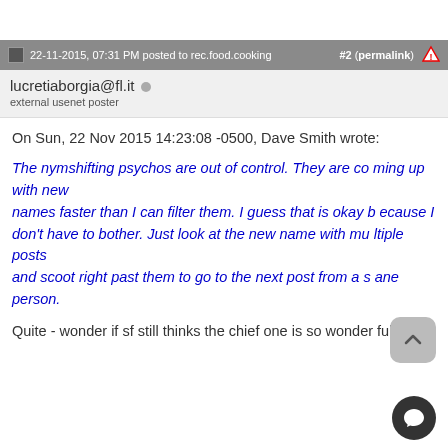22-11-2015, 07:31 PM posted to rec.food.cooking   #2 (permalink)
lucretiaborgia@fl.it
external usenet poster
On Sun, 22 Nov 2015 14:23:08 -0500, Dave Smith wrote:
The nymshifting psychos are out of control. They are coming up with new names faster than I can filter them. I guess that is okay because I don't have to bother. Just look at the new name with multiple posts and scoot right past them to go to the next post from a sane person.
Quite - wonder if sf still thinks the chief one is so wonderful?